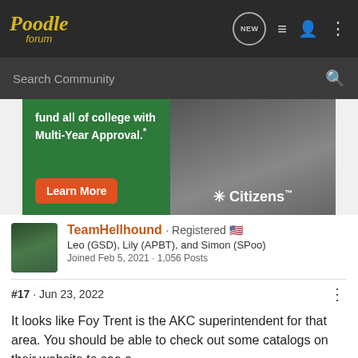Poodle forum
Search Community
[Figure (screenshot): Advertisement banner: green background with text 'fund all of college with Multi-Year Approval.*', orange Learn More button, Citizens Bank logo on right side with photo of person]
TeamHellhound · Registered 🇺🇸
Leo (GSD), Lily (APBT), and Simon (SPoo)
Joined Feb 5, 2021 · 1,056 Posts
#17 · Jun 23, 2022
It looks like Foy Trent is the AKC superintendent for that area. You should be able to check out some catalogs on their website to see a
[Figure (screenshot): Inline advertisement overlay: green background with 'One application could fund all of college with Multi-Year Approval.* Learn More Citizens' — overlaid on post text]
g Show Superintendent